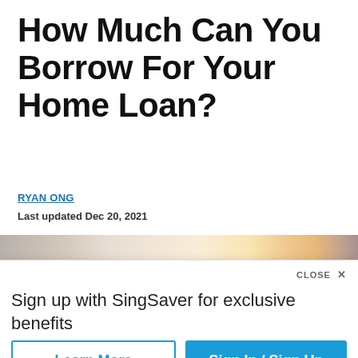How Much Can You Borrow For Your Home Loan?
RYAN ONG
Last updated Dec 20, 2021
[Figure (photo): Partial photo of a person, blurred background with warm tones]
[Figure (screenshot): Modal overlay: 'Sign up with SingSaver for exclusive benefits' with 'Learn More' and 'Sign In / Sign Up' buttons and a CLOSE X button]
[Figure (photo): Partial photo strip at bottom of article image]
[Figure (infographic): Social sharing bar with 0 SHARES count and icons for WhatsApp, Facebook, LinkedIn, Twitter, Telegram, Email]